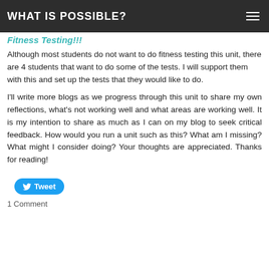WHAT IS POSSIBLE?
Fitness Testing!!
Although most students do not want to do fitness testing this unit, there are 4 students that want to do some of the tests. I will support them with this and set up the tests that they would like to do.
I'll write more blogs as we progress through this unit to share my own reflections, what's not working well and what areas are working well. It is my intention to share as much as I can on my blog to seek critical feedback. How would you run a unit such as this? What am I missing? What might I consider doing? Your thoughts are appreciated. Thanks for reading!
Tweet
1 Comment